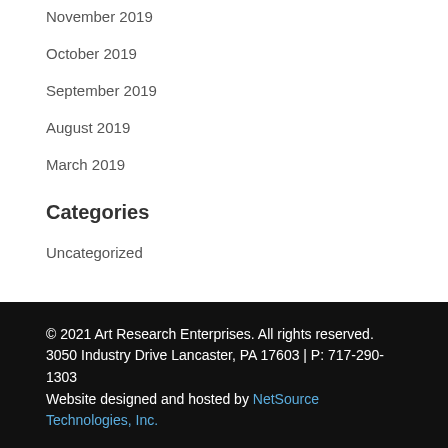November 2019
October 2019
September 2019
August 2019
March 2019
Categories
Uncategorized
© 2021 Art Research Enterprises. All rights reserved.
3050 Industry Drive Lancaster, PA 17603 | P: 717-290-1303
Website designed and hosted by NetSource Technologies, Inc.